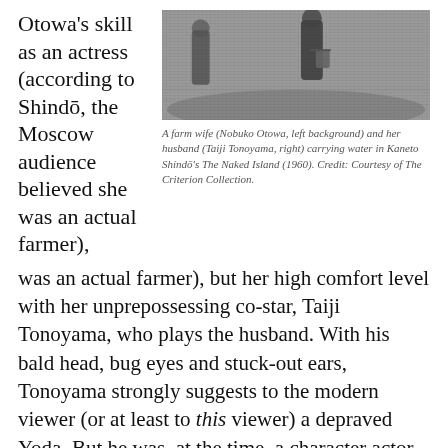Otowa's skill as an actress (according to Shindō, the Moscow audience believed she was an actual farmer),
[Figure (photo): Black and white photograph of a farm wife (Nobuko Otowa, left background) and her husband (Taiji Tonoyama, right) carrying water.]
A farm wife (Nobuko Otowa, left background) and her husband (Taiji Tonoyama, right) carrying water in Kaneto Shindō's The Naked Island (1960). Credit: Courtesy of The Criterion Collection.
but her high comfort level with her unprepossessing co-star, Taiji Tonoyama, who plays the husband. With his bald head, bug eyes and stuck-out ears, Tonoyama strongly suggests to the modern viewer (or at least to this viewer) a depraved Yoda. But he was, at the time, a character actor much in demand whenever a lecherous, dissolute or generally unsavory middle-aged character was called for. And, as a full partner in Kindai Eiga Kyokai, Tonoyama had acted in many films with Otowa throughout the 1950s.
The extraordinary chemistry between the two stars of The